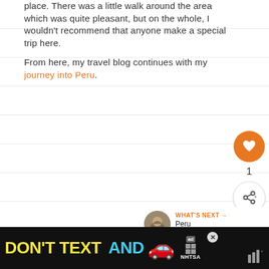place. There was a little walk around the area which was quite pleasant, but on the whole, I wouldn't recommend that anyone make a special trip here.

From here, my travel blog continues with my journey into Peru.
[Figure (other): Floating action buttons: heart/like button (orange circle with heart icon, count of 1) and share button (white circle with share icon)]
[Figure (other): What's Next card showing a circular thumbnail image and text 'Peru Backpackin...']
[Figure (other): Advertisement banner: DON'T TEXT AND [car emoji] ad by NHTSA, dark background]